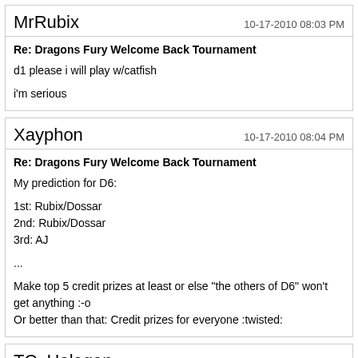MrRubix | 10-17-2010 08:03 PM
Re: Dragons Fury Welcome Back Tournament
d1 please i will play w/catfish

i'm serious
Xayphon | 10-17-2010 08:04 PM
Re: Dragons Fury Welcome Back Tournament
My prediction for D6:

1st: Rubix/Dossar
2nd: Rubix/Dossar
3rd: AJ

...

Make top 5 credit prizes at least or else "the others of D6" won't get anything :-o
Or better than that: Credit prizes for everyone :twisted:
TC_Halogen